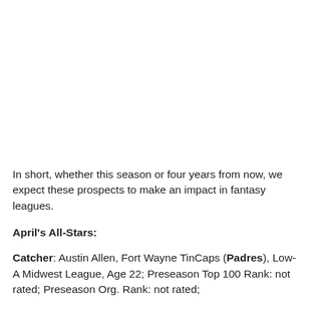In short, whether this season or four years from now, we expect these prospects to make an impact in fantasy leagues.
April's All-Stars:
Catcher: Austin Allen, Fort Wayne TinCaps (Padres), Low-A Midwest League, Age 22; Preseason Top 100 Rank: not rated; Preseason Org. Rank: not rated; .400/.500/.000, 1 HR, 11 RBI, 10 BB, 8 K